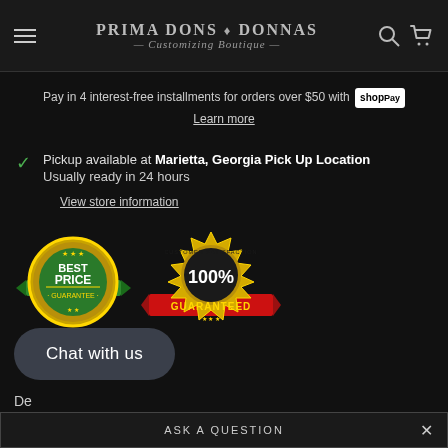Prima Dons ♦ Donnas — Customizing Boutique —
Pay in 4 interest-free installments for orders over $50 with Shop Pay
Learn more
✓ Pickup available at Marietta, Georgia Pick Up Location
Usually ready in 24 hours
View store information
[Figure (illustration): Two award badges: 'Best Price Guarantee' (green and gold badge) and 'Customer Satisfaction 100% Guaranteed' (gold badge with red ribbon)]
Chat with us
De
ASK A QUESTION